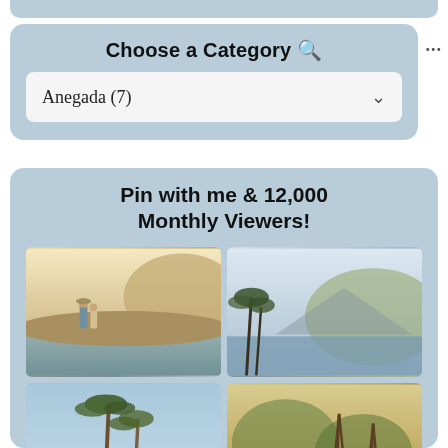Choose a Category 🔍
Anegada (7)
Pin with me & 12,000 Monthly Viewers!
[Figure (photo): Four vintage paintings of tropical island coastal scenes arranged in a 2x2 grid. Top-left: two figures standing on a coastal hillside. Top-right: coastal bay with palm trees. Bottom-left: tall palm trees against blue sky. Bottom-right: tropical scene with tall trees and people.]